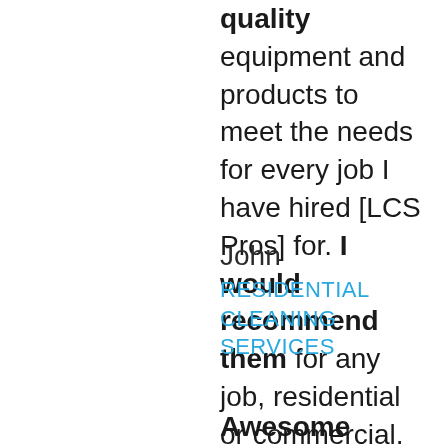quality equipment and products to meet the needs for every job I have hired [LCS Pros] for. I would recommend them for any job, residential or commercial.
John
RESIDENTIAL CLEANING SERVICES
Awesome company, awesome